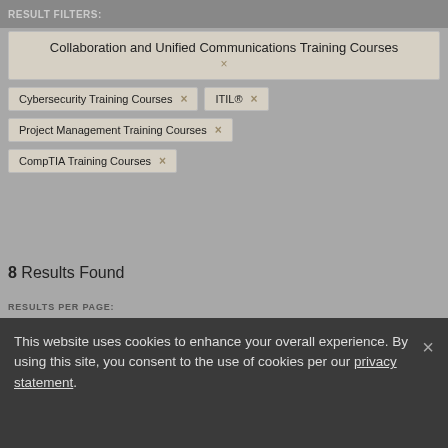RESULT FILTERS:
Collaboration and Unified Communications Training Courses ×
Cybersecurity Training Courses ×
ITIL® ×
Project Management Training Courses ×
CompTIA Training Courses ×
8 Results Found
RESULTS PER PAGE: 10  40  80
SORT BY:
This website uses cookies to enhance your overall experience. By using this site, you consent to the use of cookies per our privacy statement.
FOCUSED ON THEIR NO.1 ASSET,